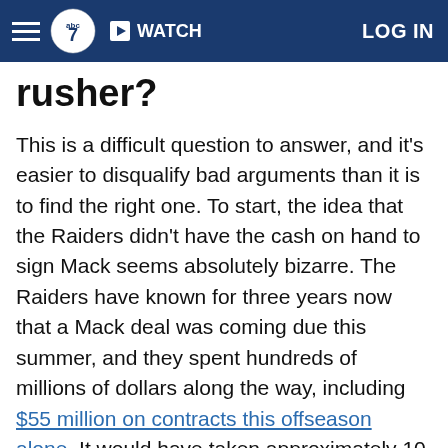ABC7 | WATCH | LOG IN
rusher?
This is a difficult question to answer, and it's easier to disqualify bad arguments than it is to find the right one. To start, the idea that the Raiders didn't have the cash on hand to sign Mack seems absolutely bizarre. The Raiders have known for three years now that a Mack deal was coming due this summer, and they spent hundreds of millions of dollars along the way, including $55 million on contracts this offseason alone. It would have taken approximately 10 minutes to raise the cash flow to sign Mack if owner Mark Davis failed to balance his checkbook. This should be a non-starter.